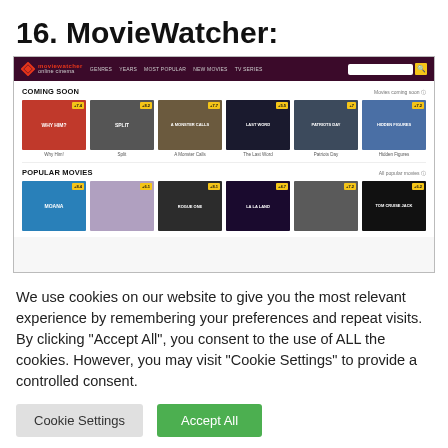16. MovieWatcher:
[Figure (screenshot): Screenshot of MovieWatcher online cinema website showing navigation bar with logo, genre links, search box, and two movie sections: 'Coming Soon' with movies Why Him?, Split, A Monster Calls, The Last Word, Patriots Day, Hidden Figures; and 'Popular Movies' with partially visible movie thumbnails.]
We use cookies on our website to give you the most relevant experience by remembering your preferences and repeat visits. By clicking "Accept All", you consent to the use of ALL the cookies. However, you may visit "Cookie Settings" to provide a controlled consent.
Cookie Settings
Accept All